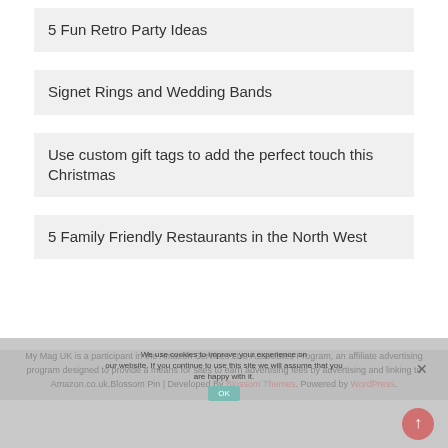5 Fun Retro Party Ideas
Signet Rings and Wedding Bands
Use custom gift tags to add the perfect touch this Christmas
5 Family Friendly Restaurants in the North West
My Mag UK is a participant in the Amazon Services LLC Associates Program, an affiliate advertising program designed to provide a means for sites to earn advertising fees by advertising and linking to Amazon.co.uk.Blossom Pin | Developed By Blossom Themes. Powered by WordPress.